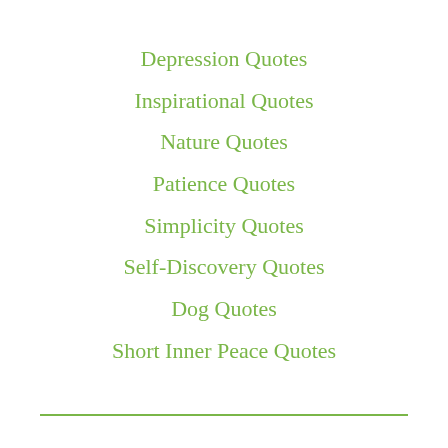Depression Quotes
Inspirational Quotes
Nature Quotes
Patience Quotes
Simplicity Quotes
Self-Discovery Quotes
Dog Quotes
Short Inner Peace Quotes